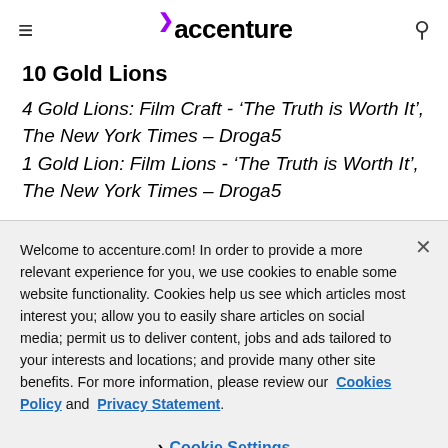accenture
10 Gold Lions
4 Gold Lions: Film Craft - ‘The Truth is Worth It’, The New York Times – Droga5
1 Gold Lion: Film Lions - ‘The Truth is Worth It’, The New York Times – Droga5
Welcome to accenture.com! In order to provide a more relevant experience for you, we use cookies to enable some website functionality. Cookies help us see which articles most interest you; allow you to easily share articles on social media; permit us to deliver content, jobs and ads tailored to your interests and locations; and provide many other site benefits. For more information, please review our Cookies Policy and Privacy Statement.
Cookie Settings